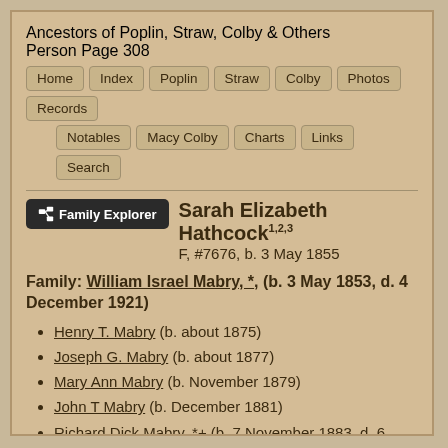Ancestors of Poplin, Straw, Colby & Others
Person Page 308
Home | Index | Poplin | Straw | Colby | Photos | Records | Notables | Macy Colby | Charts | Links | Search
Sarah Elizabeth Hathcock1,2,3 F, #7676, b. 3 May 1855
Family: William Israel Mabry, *, (b. 3 May 1853, d. 4 December 1921)
Henry T. Mabry (b. about 1875)
Joseph G. Mabry (b. about 1877)
Mary Ann Mabry (b. November 1879)
John T Mabry (b. December 1881)
Richard Dick Mabry, *+ (b. 7 November 1883, d. 6 January 1945)
Jacob J Mabry (b. September 1886)
Fannie Mabry (b. 10 April 1891)